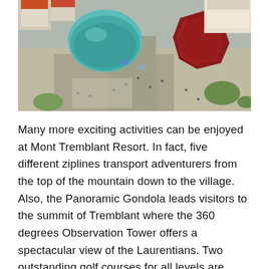[Figure (photo): Aerial view of Mont Tremblant Resort village showing colorful rooftops including a teal/turquoise dome and a red octagonal building, with pedestrian squares and green areas visible from above.]
Many more exciting activities can be enjoyed at Mont Tremblant Resort. In fact, five different ziplines transport adventurers from the top of the mountain down to the village. Also, the Panoramic Gondola leads visitors to the summit of Tremblant where the 360 degrees Observation Tower offers a spectacular view of the Laurentians. Two outstanding golf courses for all levels are available nearby, paddle boarding and kayaking can be practiced in the